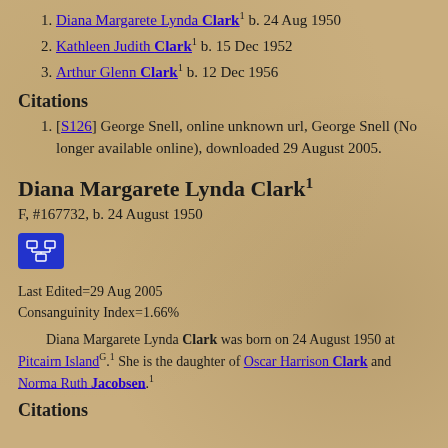1. Diana Margarete Lynda Clark¹ b. 24 Aug 1950
2. Kathleen Judith Clark¹ b. 15 Dec 1952
3. Arthur Glenn Clark¹ b. 12 Dec 1956
Citations
1. [S126] George Snell, online unknown url, George Snell (No longer available online), downloaded 29 August 2005.
Diana Margarete Lynda Clark¹
F, #167732, b. 24 August 1950
[Figure (other): Blue icon button with family tree/relationship diagram symbol]
Last Edited=29 Aug 2005
Consanguinity Index=1.66%
Diana Margarete Lynda Clark was born on 24 August 1950 at Pitcairn Island^G.¹ She is the daughter of Oscar Harrison Clark and Norma Ruth Jacobsen.¹
Citations